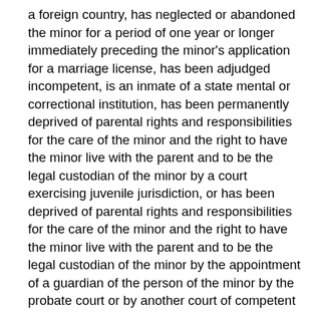a foreign country, has neglected or abandoned the minor for a period of one year or longer immediately preceding the minor's application for a marriage license, has been adjudged incompetent, is an inmate of a state mental or correctional institution, has been permanently deprived of parental rights and responsibilities for the care of the minor and the right to have the minor live with the parent and to be the legal custodian of the minor by a court exercising juvenile jurisdiction, or has been deprived of parental rights and responsibilities for the care of the minor and the right to have the minor live with the parent and to be the legal custodian of the minor by the appointment of a guardian of the person of the minor by the probate court or by another court of competent jurisdiction.
(C)